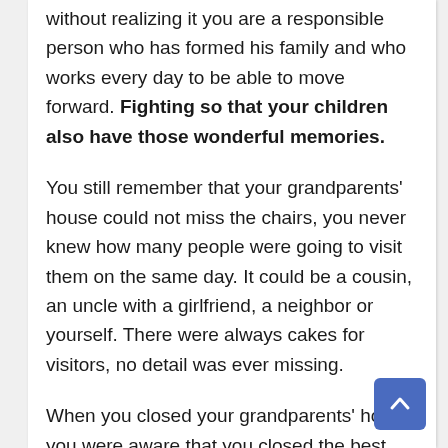without realizing it you are a responsible person who has formed his family and who works every day to be able to move forward. Fighting so that your children also have those wonderful memories.
You still remember that your grandparents' house could not miss the chairs, you never knew how many people were going to visit them on the same day. It could be a cousin, an uncle with a girlfriend, a neighbor or yourself. There were always cakes for visitors, no detail was ever missing.
When you closed your grandparents' house, you were aware that you closed the best moments of your life... But you must also